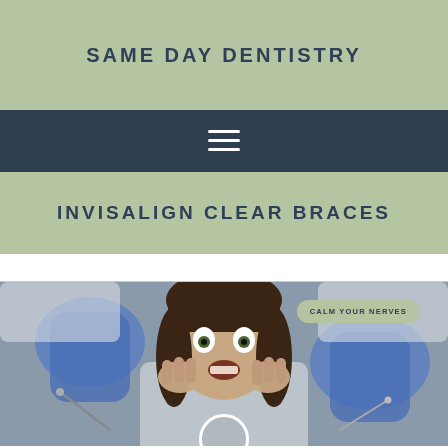SAME DAY DENTISTRY
[Figure (other): Hamburger menu icon (three horizontal white lines) on dark teal navigation bar]
INVISALIGN CLEAR BRACES
breadcrumb navigation bar
[Figure (photo): Woman with wide, scared expression holding her face in her hands, flanked by two hands in blue latex gloves holding dental instruments. Grey background.]
CALM YOUR NERVES